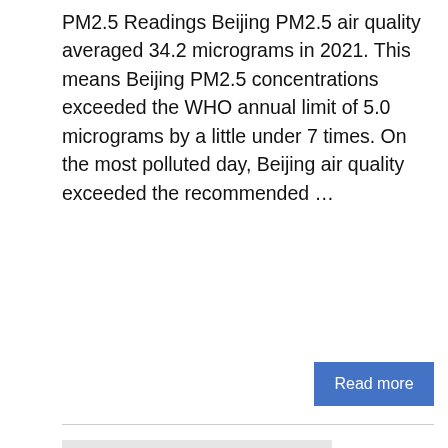PM2.5 Readings Beijing PM2.5 air quality averaged 34.2 micrograms in 2021. This means Beijing PM2.5 concentrations exceeded the WHO annual limit of 5.0 micrograms by a little under 7 times. On the most polluted day, Beijing air quality exceeded the recommended ...
Read more
[Figure (logo): Smart Air logo — circular watermark-style logo with text SMART AIR on a grey background]
Comparison of Mask